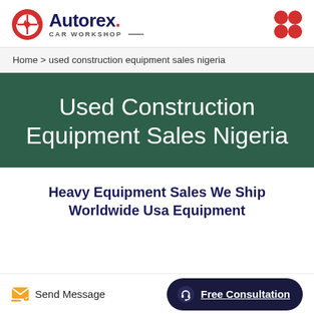[Figure (logo): Autorex Car Workshop logo with red circular icon on the left and red four-petal flower icon on the right]
Home > used construction equipment sales nigeria
Used Construction Equipment Sales Nigeria
Heavy Equipment Sales We Ship Worldwide Usa Equipment
Send Message | Free Consultation